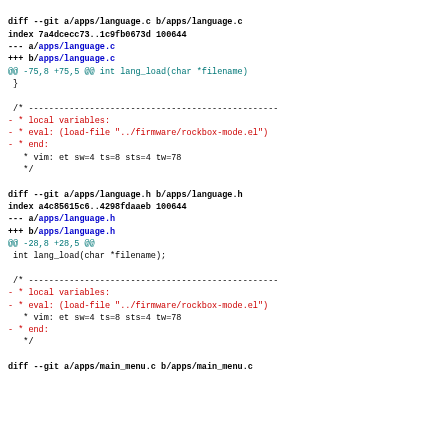diff --git a/apps/language.c b/apps/language.c
index 7a4dcecc73..1c9fb0673d 100644
--- a/apps/language.c
+++ b/apps/language.c
@@ -75,8 +75,5 @@ int lang_load(char *filename)
 }

 /* --------------------------------------------------
- * local variables:
- * eval: (load-file "../firmware/rockbox-mode.el")
- * end:
   * vim: et sw=4 ts=8 sts=4 tw=78
   */

diff --git a/apps/language.h b/apps/language.h
index a4c85615c6..4298fdaaeb 100644
--- a/apps/language.h
+++ b/apps/language.h
@@ -28,8 +28,5 @@
 int lang_load(char *filename);

 /* --------------------------------------------------
- * local variables:
- * eval: (load-file "../firmware/rockbox-mode.el")
  * vim: et sw=4 ts=8 sts=4 tw=78
- * end:
   */

diff --git a/apps/main_menu.c b/apps/main_menu.c